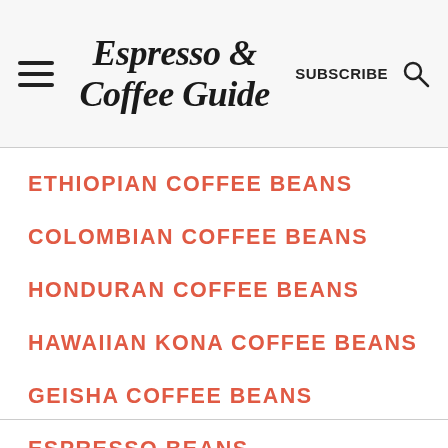Espresso & Coffee Guide — SUBSCRIBE [search icon]
ETHIOPIAN COFFEE BEANS
COLOMBIAN COFFEE BEANS
HONDURAN COFFEE BEANS
HAWAIIAN KONA COFFEE BEANS
GEISHA COFFEE BEANS
ESPRESSO BEANS
BEST COFFEE BEANS